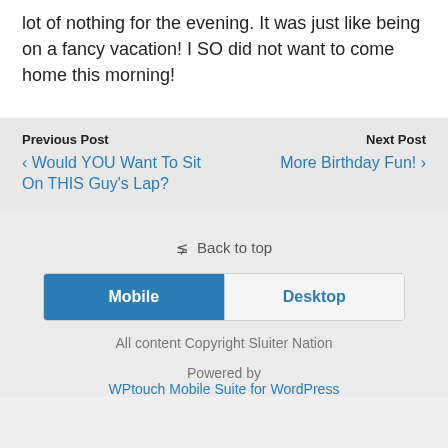lot of nothing for the evening. It was just like being on a fancy vacation! I SO did not want to come home this morning!
Previous Post
‹ Would YOU Want To Sit On THIS Guy's Lap?
Next Post
More Birthday Fun! ›
⋀ Back to top
Mobile | Desktop
All content Copyright Sluiter Nation
Powered by WPtouch Mobile Suite for WordPress